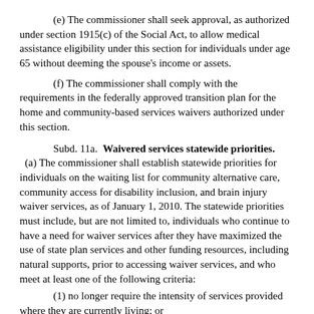(e) The commissioner shall seek approval, as authorized under section 1915(c) of the Social Act, to allow medical assistance eligibility under this section for individuals under age 65 without deeming the spouse's income or assets.
(f) The commissioner shall comply with the requirements in the federally approved transition plan for the home and community-based services waivers authorized under this section.
Subd. 11a. Waivered services statewide priorities. (a) The commissioner shall establish statewide priorities for individuals on the waiting list for community alternative care, community access for disability inclusion, and brain injury waiver services, as of January 1, 2010. The statewide priorities must include, but are not limited to, individuals who continue to have a need for waiver services after they have maximized the use of state plan services and other funding resources, including natural supports, prior to accessing waiver services, and who meet at least one of the following criteria:
(1) no longer require the intensity of services provided where they are currently living; or